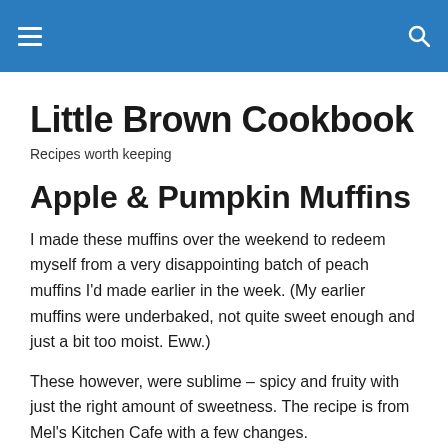Little Brown Cookbook
Little Brown Cookbook
Recipes worth keeping
Apple & Pumpkin Muffins
I made these muffins over the weekend to redeem myself from a very disappointing batch of peach muffins I'd made earlier in the week. (My earlier muffins were underbaked, not quite sweet enough and just a bit too moist. Eww.)
These however, were sublime – spicy and fruity with just the right amount of sweetness. The recipe is from Mel's Kitchen Cafe with a few changes.